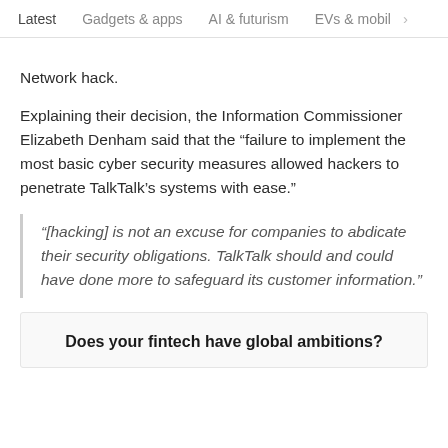Latest   Gadgets & apps   AI & futurism   EVs & mobil  >
Network hack.
Explaining their decision, the Information Commissioner Elizabeth Denham said that the “failure to implement the most basic cyber security measures allowed hackers to penetrate TalkTalk’s systems with ease.”
“[hacking] is not an excuse for companies to abdicate their security obligations. TalkTalk should and could have done more to safeguard its customer information.”
Does your fintech have global ambitions?